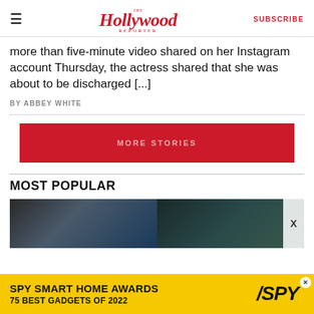The Hollywood Reporter | SUBSCRIBE
more than five-minute video shared on her Instagram account Thursday, the actress shared that she was about to be discharged [...]
BY ABBEY WHITE
MORE STORIES
MOST POPULAR
[Figure (photo): Two people in winter hats in a dark scene, split image]
[Figure (advertisement): SPY Smart Home Awards - 75 Best Gadgets of 2022 ad banner in yellow]